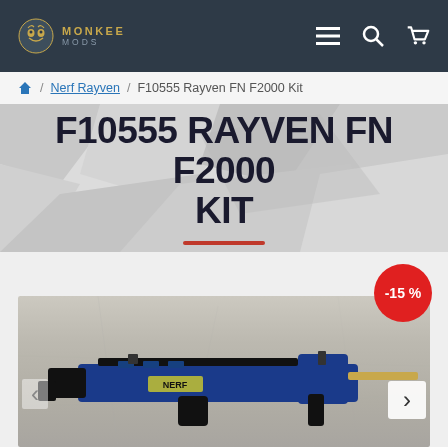MONKEE MODS — navigation bar with logo, menu, search, and cart icons
Home / Nerf Rayven / F10555 Rayven FN F2000 Kit
F10555 RAYVEN FN F2000 KIT
[Figure (photo): Product photo of a blue and black Nerf Rayven gun modified to look like an FN F2000, with a -15% discount badge, on a concrete background. Navigation arrows on left and right sides of image.]